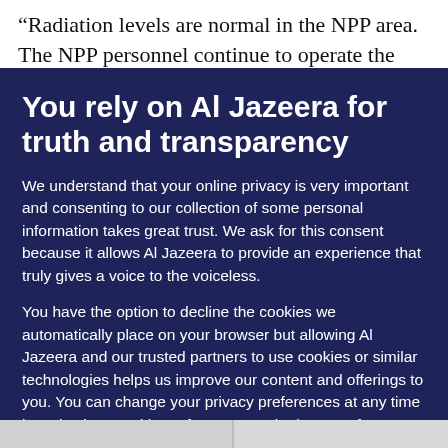“Radiation levels are normal in the NPP area. The NPP personnel continue to operate the power plant
You rely on Al Jazeera for truth and transparency
We understand that your online privacy is very important and consenting to our collection of some personal information takes great trust. We ask for this consent because it allows Al Jazeera to provide an experience that truly gives a voice to the voiceless.

You have the option to decline the cookies we automatically place on your browser but allowing Al Jazeera and our trusted partners to use cookies or similar technologies helps us improve our content and offerings to you. You can change your privacy preferences at any time by selecting ‘Cookie preferences’ at the bottom of your screen. To learn more, please view our Cookie Policy.